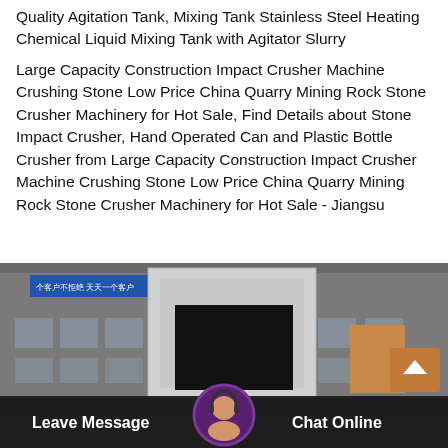Quality Agitation Tank, Mixing Tank Stainless Steel Heating Chemical Liquid Mixing Tank with Agitator Slurry
Large Capacity Construction Impact Crusher Machine Crushing Stone Low Price China Quarry Mining Rock Stone Crusher Machinery for Hot Sale, Find Details about Stone Impact Crusher, Hand Operated Can and Plastic Bottle Crusher from Large Capacity Construction Impact Crusher Machine Crushing Stone Low Price China Quarry Mining Rock Stone Crusher Machinery for Hot Sale - Jiangsu
[Figure (photo): Photograph of an industrial building/factory exterior with a large white machine or door frame visible in the center and a black display/screen area. A chat overlay UI is shown at the bottom with 'Leave Message' on the left, 'Chat Online' on the right, and a circular avatar of a customer service representative in the center.]